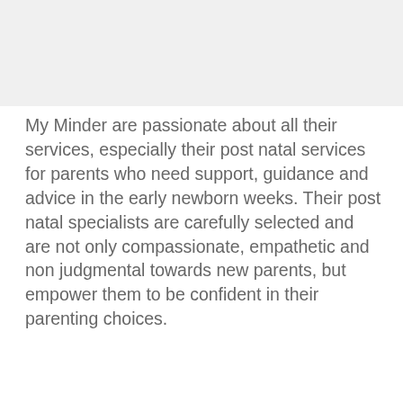[Figure (photo): Top portion of image, light grey area representing a cropped photo or banner image.]
My Minder are passionate about all their services, especially their post natal services for parents who need support, guidance and advice in the early newborn weeks. Their post natal specialists are carefully selected and are not only compassionate, empathetic and non judgmental towards new parents, but empower them to be confident in their parenting choices.